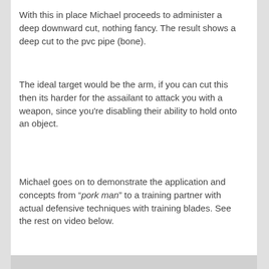With this in place Michael proceeds to administer a deep downward cut, nothing fancy. The result shows a deep cut to the pvc pipe (bone).
The ideal target would be the arm, if you can cut this then its harder for the assailant to attack you with a weapon, since you're disabling their ability to hold onto an object.
Michael goes on to demonstrate the application and concepts from "pork man" to a training partner with actual defensive techniques with training blades. See the rest on video below.
[Figure (screenshot): Video thumbnail showing two bald men in black shirts facing each other against a light background, with a circular play button overlay in the center bottom area.]